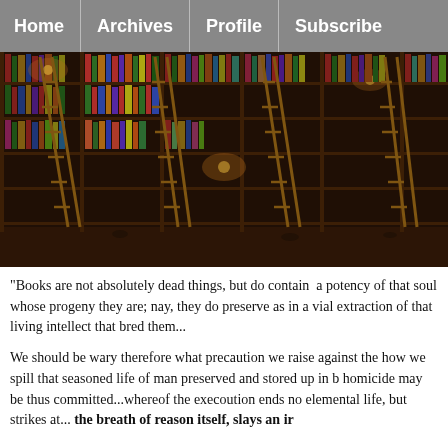Home | Archives | Profile | Subscribe
[Figure (photo): A large ornate library with tall dark wooden bookshelves filled with colorful books, multiple wooden ladders leaning against the shelves, and warm ambient lighting from wall lamps.]
"Books are not absolutely dead things, but do contain  a potency of that soul whose progeny they are; nay, they do preserve as in a vial extraction of that living intellect that bred them...
We should be wary therefore what precaution we raise against the how we spill that seasoned life of man preserved and stored up in b homicide may be thus committed...whereof the execoution ends no elemental life, but strikes at... the breath of reason itself, slays an ir